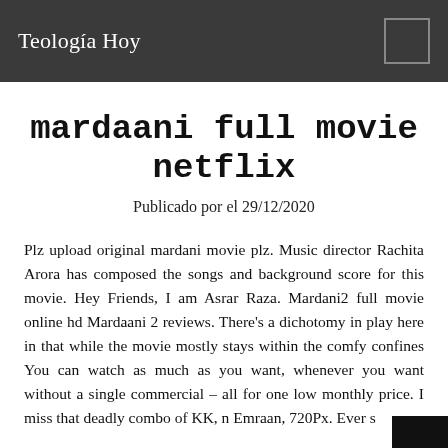Teología Hoy
mardaani full movie netflix
Publicado por el 29/12/2020
Plz upload original mardani movie plz. Music director Rachita Arora has composed the songs and background score for this movie. Hey Friends, I am Asrar Raza. Mardani2 full movie online hd Mardaani 2 reviews. There's a dichotomy in play here in that while the movie mostly stays within the comfy confines You can watch as much as you want, whenever you want without a single commercial – all for one low monthly price. I miss that deadly combo of KK, n Emraan, 720Px. Ever s